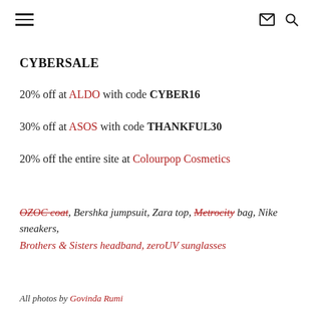≡  ✉ 🔍
CYBERSALE
20% off at ALDO with code CYBER16
30% off at ASOS with code THANKFUL30
20% off the entire site at Colourpop Cosmetics
OZOC coat, Bershka jumpsuit, Zara top, Metrocity bag, Nike sneakers, Brothers & Sisters headband, zeroUV sunglasses
All photos by Govinda Rumi